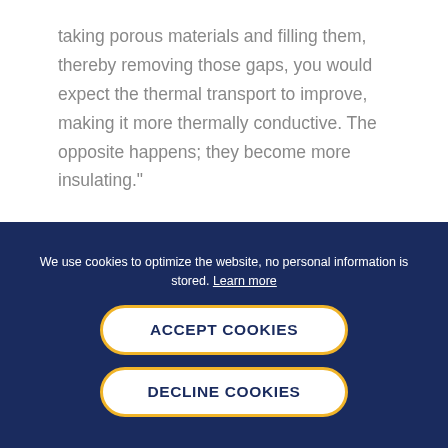taking porous materials and filling them, thereby removing those gaps, you would expect the thermal transport to improve, making it more thermally conductive. The opposite happens; they become more insulating."
We use cookies to optimize the website, no personal information is stored. Learn more
ACCEPT COOKIES
DECLINE COOKIES